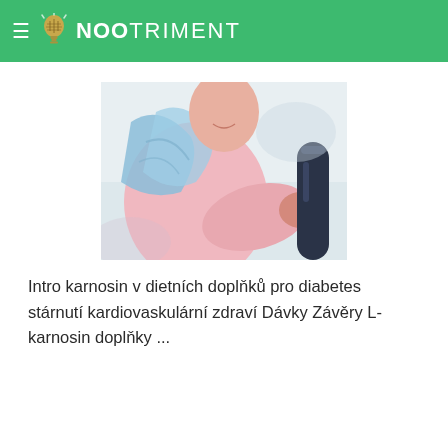≡ NOOTRIMENT
[Figure (photo): Woman in pink shirt with blue towel over shoulder, holding exercise equipment handle — fitness/health stock photo]
Intro karnosin v dietních doplňků pro diabetes stárnutí kardiovaskulární zdraví Dávky Závěry L-karnosin doplňky ...